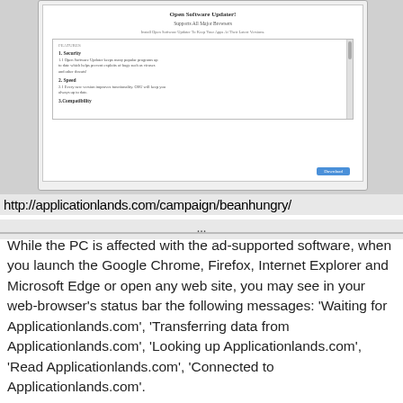[Figure (screenshot): Screenshot of a web browser window showing 'Open Software Updater!' page with features listed (Security, Speed, Compatibility) and a Download button. Below the window is a URL: http://applicationlands.com/campaign/beanhungry/ followed by ellipsis.]
While the PC is affected with the ad-supported software, when you launch the Google Chrome, Firefox, Internet Explorer and Microsoft Edge or open any web site, you may see in your web-browser’s status bar the following messages: ‘Waiting for Applicationlands.com’, ‘Transferring data from Applicationlands.com’, ‘Looking up Applicationlands.com’, ‘Read Applicationlands.com’, ‘Connected to Applicationlands.com’.